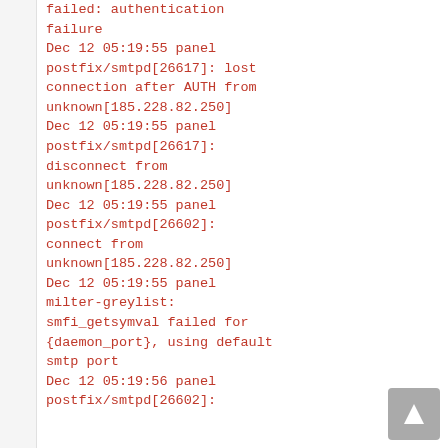failed: authentication failure
Dec 12 05:19:55 panel postfix/smtpd[26617]: lost connection after AUTH from unknown[185.228.82.250]
Dec 12 05:19:55 panel postfix/smtpd[26617]: disconnect from unknown[185.228.82.250]
Dec 12 05:19:55 panel postfix/smtpd[26602]: connect from unknown[185.228.82.250]
Dec 12 05:19:55 panel milter-greylist: smfi_getsymval failed for {daemon_port}, using default smtp port
Dec 12 05:19:56 panel postfix/smtpd[26602]: